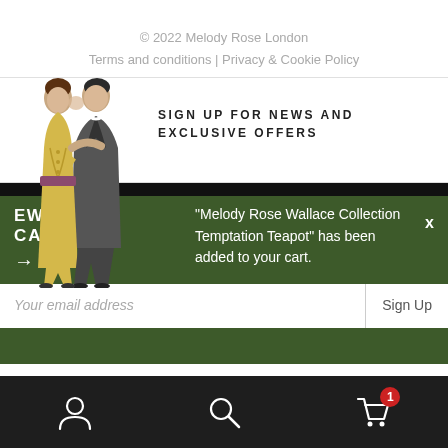© 2022 Melody Rose London
Terms and conditions | Privacy & Cookie Policy
SIGN UP FOR NEWS AND EXCLUSIVE OFFERS
[Figure (illustration): Vintage illustration of a couple embracing/kissing, woman in yellow dress, man in grey suit]
"Melody Rose Wallace Collection Temptation Teapot" has been added to your cart.
EW CART →
X
Your email address
Sign Up